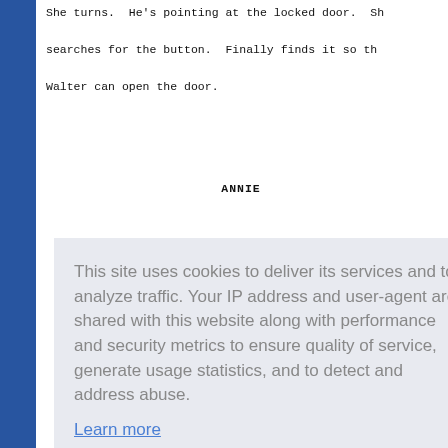She turns.  He's pointing at the locked door.  She searches for the button.  Finally finds it so that Walter can open the door.
ANNIE
[Figure (other): Cookie consent overlay popup with text: 'This site uses cookies to deliver its services and to analyze traffic. Your IP address and user-agent are shared with this website along with performance and security metrics to ensure quality of service, generate usage statistics, and to detect and address abuse.' with a 'Learn more' link and a 'Got it!' button.]
they say.  It's the end of